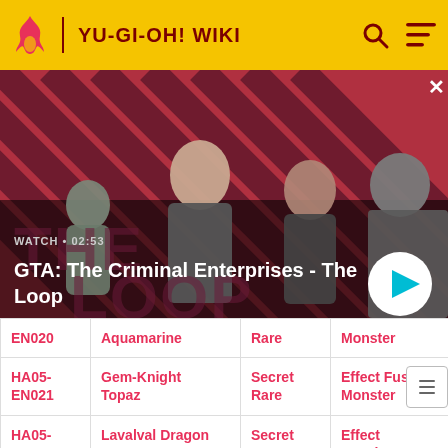YU-GI-OH! WIKI
[Figure (screenshot): GTA: The Criminal Enterprises - The Loop promotional video banner with characters on a striped red/dark background. Shows WATCH · 02:53 label and a play button.]
| EN020 | Aquamarine | Rare | Monster |
| HA05-EN021 | Gem-Knight Topaz | Secret Rare | Effect Fusion Monster |
| HA05-EN022 | Lavalval Dragon | Secret Rare | Effect Synchro |